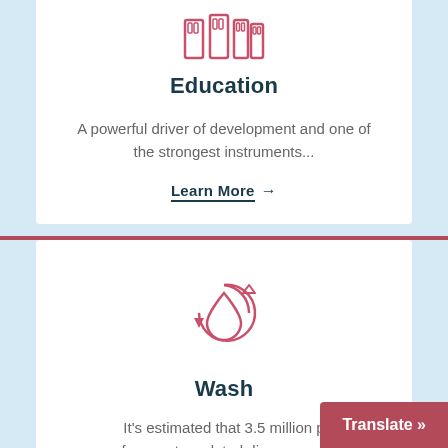[Figure (illustration): Education icon showing stacked books/containers outline in pink/rose color]
Education
A powerful driver of development and one of the strongest instruments...
Learn More →
[Figure (illustration): Wash/water recycling icon: water drop inside circular arrows, in pink/rose outline]
Wash
It's estimated that 3.5 million p from water-related diseases ov